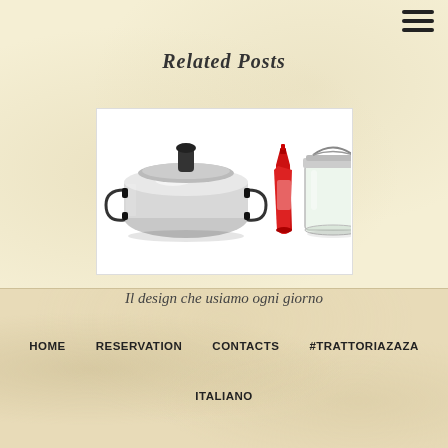Related Posts
[Figure (photo): Kitchen items: a silver pressure cooker, a red ketchup bottle, and a glass mason jar with a clamp lid, on a white background]
Il design che usiamo ogni giorno
HOME
RESERVATION
CONTACTS
#TRATTORIAZAZA
ITALIANO